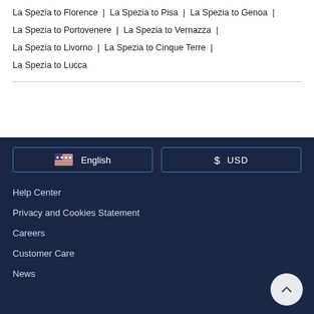La Spezia to Leaning Tower of Pisa | La Spezia to Tuscany |
La Spezia to Florence | La Spezia to Pisa | La Spezia to Genoa |
La Spezia to Portovenere | La Spezia to Vernazza |
La Spezia to Livorno | La Spezia to Cinque Terre |
La Spezia to Lucca
English | $ USD | Help Center | Privacy and Cookies Statement | Careers | Customer Care | News